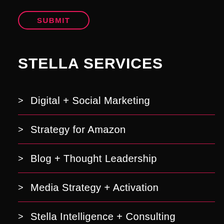SUBMIT
STELLA SERVICES
> Digital + Social Marketing
> Strategy for Amazon
> Blog + Thought Leadership
> Media Strategy + Activation
> Stella Intelligence + Consulting